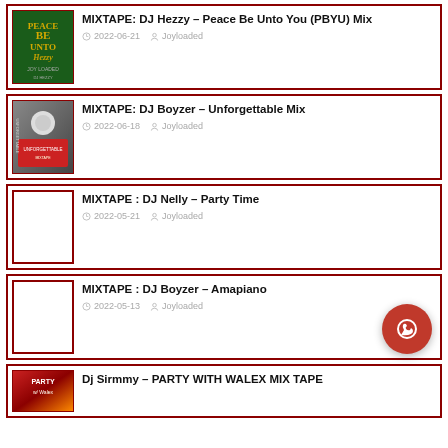MIXTAPE: DJ Hezzy – Peace Be Unto You (PBYU) Mix | 2022-06-21 | Joyloaded
MIXTAPE: DJ Boyzer – Unforgettable Mix | 2022-06-18 | Joyloaded
MIXTAPE : DJ Nelly – Party Time | 2022-05-21 | Joyloaded
MIXTAPE : DJ Boyzer – Amapiano | 2022-05-13 | Joyloaded
Dj Sirmmy – PARTY WITH WALEX MIX TAPE